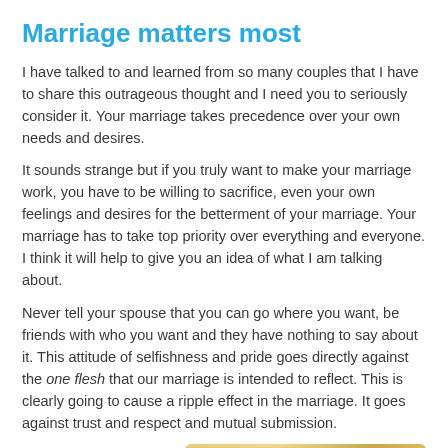Marriage matters most
I have talked to and learned from so many couples that I have to share this outrageous thought and I need you to seriously consider it. Your marriage takes precedence over your own needs and desires.
It sounds strange but if you truly want to make your marriage work, you have to be willing to sacrifice, even your own feelings and desires for the betterment of your marriage. Your marriage has to take top priority over everything and everyone. I think it will help to give you an idea of what I am talking about.
Never tell your spouse that you can go where you want, be friends with who you want and they have nothing to say about it. This attitude of selfishness and pride goes directly against the one flesh that our marriage is intended to reflect. This is clearly going to cause a ripple effect in the marriage. It goes against trust and respect and mutual submission.
Also, never deliberately
[Figure (photo): Close-up photo of gold wedding rings]